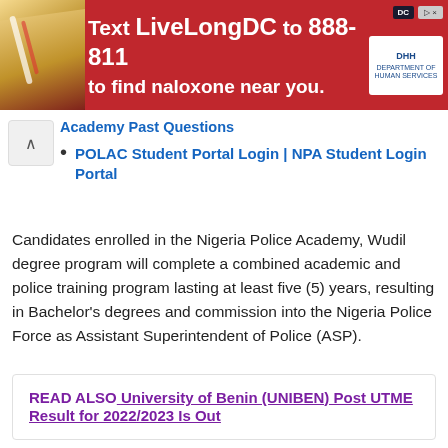[Figure (other): Advertisement banner: red background with photo of naloxone, text reading 'Text LiveLongDC to 888-811 to find naloxone near you.' with DC and DHH logos]
Academy Past Questions
POLAC Student Portal Login | NPA Student Login Portal
Candidates enrolled in the Nigeria Police Academy, Wudil degree program will complete a combined academic and police training program lasting at least five (5) years, resulting in Bachelor's degrees and commission into the Nigeria Police Force as Assistant Superintendent of Police (ASP).
READ ALSO  University of Benin (UNIBEN) Post UTME Result for 2022/2023 Is Out